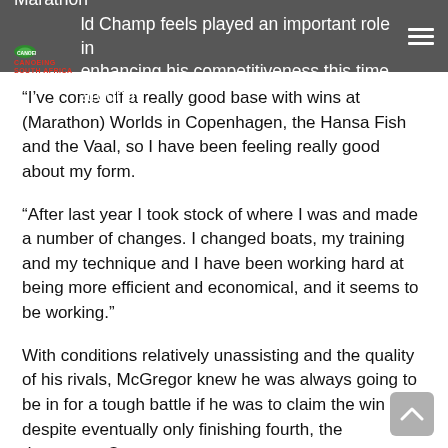campaign to the Asian clash is what the triple Marathon World Champ feels played an important role in enhancing his competitiveness this time around.
“I’ve come off a really good base with wins at (Marathon) Worlds in Copenhagen, the Hansa Fish and the Vaal, so I have been feeling really good about my form.
“After last year I took stock of where I was and made a number of changes. I changed boats, my training and my technique and I have been working hard at being more efficient and economical, and it seems to be working.”
With conditions relatively unassisting and the quality of his rivals, McGregor knew he was always going to be in for a tough battle if he was to claim the win and despite eventually only finishing fourth, the dangerous Cotter